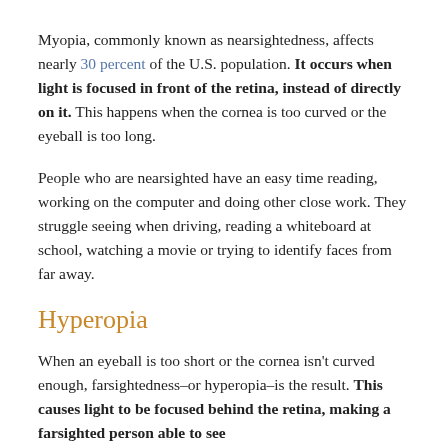Myopia, commonly known as nearsightedness, affects nearly 30 percent of the U.S. population. It occurs when light is focused in front of the retina, instead of directly on it. This happens when the cornea is too curved or the eyeball is too long.
People who are nearsighted have an easy time reading, working on the computer and doing other close work. They struggle seeing when driving, reading a whiteboard at school, watching a movie or trying to identify faces from far away.
Hyperopia
When an eyeball is too short or the cornea isn't curved enough, farsightedness–or hyperopia–is the result. This causes light to be focused behind the retina, making a farsighted person able to see